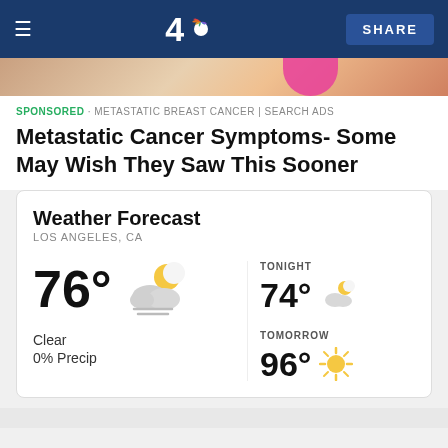[Figure (screenshot): NBC4 news website navigation bar with hamburger menu, NBC4 logo, and SHARE button on dark navy background]
[Figure (photo): Partial image of a person in the background, top portion cropped]
SPONSORED · METASTATIC BREAST CANCER | SEARCH ADS
Metastatic Cancer Symptoms- Some May Wish They Saw This Sooner
Weather Forecast
LOS ANGELES, CA
76°
Clear
0% Precip
TONIGHT
74°
TOMORROW
96°